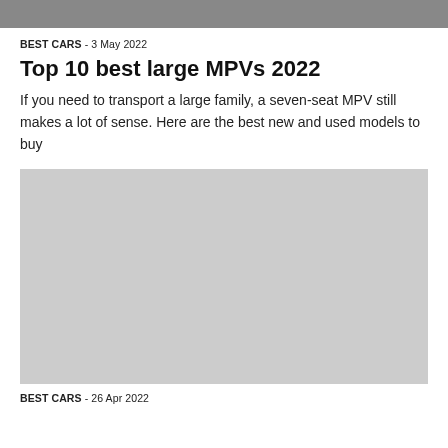[Figure (photo): Top portion of a car photo, cropped at the top of the page]
BEST CARS  - 3 May 2022
Top 10 best large MPVs 2022
If you need to transport a large family, a seven-seat MPV still makes a lot of sense. Here are the best new and used models to buy
[Figure (photo): Grey placeholder image for a car article]
BEST CARS  - 26 Apr 2022